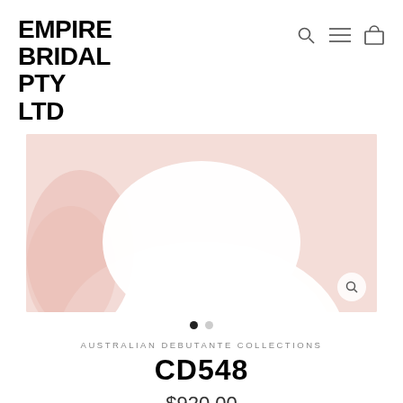EMPIRE BRIDAL PTY LTD
[Figure (logo): Search, menu, and cart navigation icons]
[Figure (photo): White bridal/debutante dress on pink background with zoom icon]
AUSTRALIAN DEBUTANTE COLLECTIONS
CD548
$920.00
Tax included.